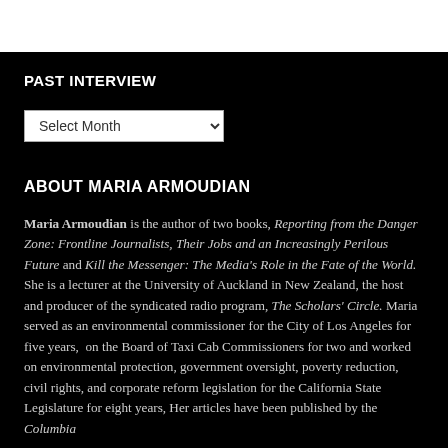PAST INTERVIEW
[Figure (screenshot): Dropdown select box labeled 'Select Month' with a dropdown arrow]
ABOUT MARIA ARMOUDIAN
Maria Armoudian is the author of two books, Reporting from the Danger Zone: Frontline Journalists, Their Jobs and an Increasingly Perilous Future and Kill the Messenger: The Media's Role in the Fate of the World. She is a lecturer at the University of Auckland in New Zealand, the host and producer of the syndicated radio program, The Scholars' Circle. Maria served as an environmental commissioner for the City of Los Angeles for five years, on the Board of Taxi Cab Commissioners for two and worked on environmental protection, government oversight, poverty reduction, civil rights, and corporate reform legislation for the California State Legislature for eight years, Her articles have been published by the Columbia Journalism Review, New York Times, Smithsonian, and the Los Angeles Times.